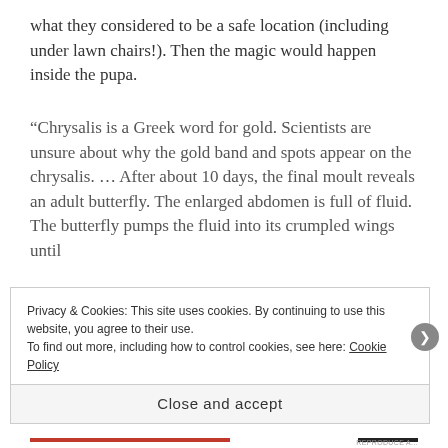what they considered to be a safe location (including under lawn chairs!). Then the magic would happen inside the pupa.
“Chrysalis is a Greek word for gold. Scientists are unsure about why the gold band and spots appear on the chrysalis. … After about 10 days, the final moult reveals an adult butterfly. The enlarged abdomen is full of fluid. The butterfly pumps the fluid into its crumpled wings until
Privacy & Cookies: This site uses cookies. By continuing to use this website, you agree to their use.
To find out more, including how to control cookies, see here: Cookie Policy
Close and accept